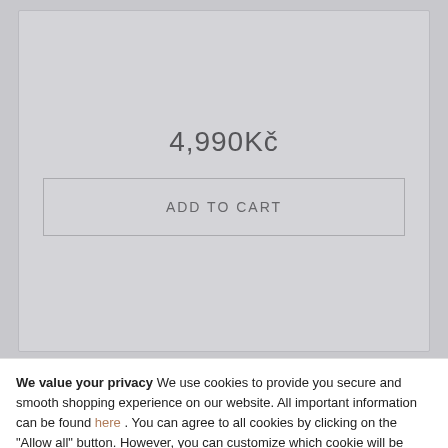4,990Kč
ADD TO CART
Gold ring with diamond with engraving heart VENI
We value your privacy We use cookies to provide you secure and smooth shopping experience on our website. All important information can be found here . You can agree to all cookies by clicking on the "Allow all" button. However, you can customize which cookie will be used by clicking "Customize" button
CUSTOMIZE
ACCEPT ALL